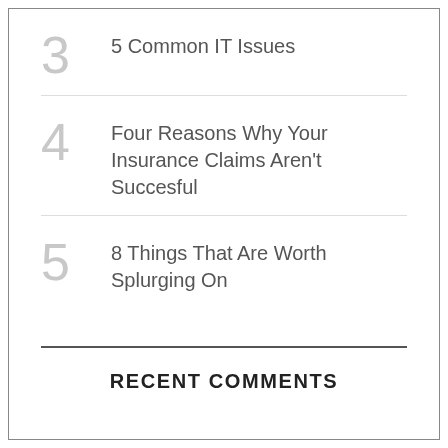3  5 Common IT Issues
4  Four Reasons Why Your Insurance Claims Aren't Succesful
5  8 Things That Are Worth Splurging On
RECENT COMMENTS